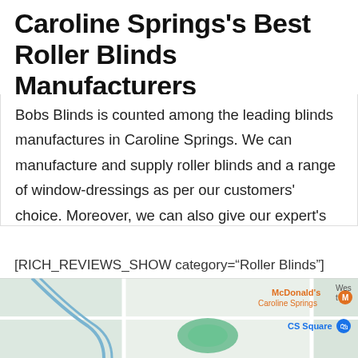Caroline Springs's Best Roller Blinds Manufacturers
Bobs Blinds is counted among the leading blinds manufactures in Caroline Springs. We can manufacture and supply roller blinds and a range of window-dressings as per our customers' choice. Moreover, we can also give our expert's opinions to our customers about the window coverings that will go best with their home or office interior. Hence, if you are in the search of Caroline Springs's best and affordable blinds manufacturer, Bobs Blinds is the right place to be.
[RICH_REVIEWS_SHOW category="Roller Blinds"]
[Figure (map): Google Maps screenshot showing Caroline Springs area with McDonald's Caroline Springs and CS Square markers visible]